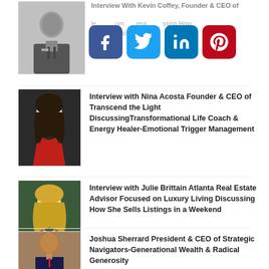[Figure (photo): Partially visible photo of a man in suit (Kevin Coffey) with social media share buttons overlaid]
Interview With Kevin Coffey, Founder & CEO of [partially visible]
[Figure (photo): Photo of Nina Acosta, a woman in a red dress]
Interview with Nina Acosta Founder & CEO of Transcend the Light DiscussingTransformational Life Coach & Energy Healer-Emotional Trigger Management
[Figure (photo): Photo of Julie Brittain, a woman with blonde hair]
Interview with Julie Brittain Atlanta Real Estate Advisor Focused on Luxury Living Discussing How She Sells Listings in a Weekend
[Figure (photo): Photo of Joshua Sherrard, a man in a suit]
Joshua Sherrard President & CEO of Strategic Navigators-Generational Wealth & Radical Generosity